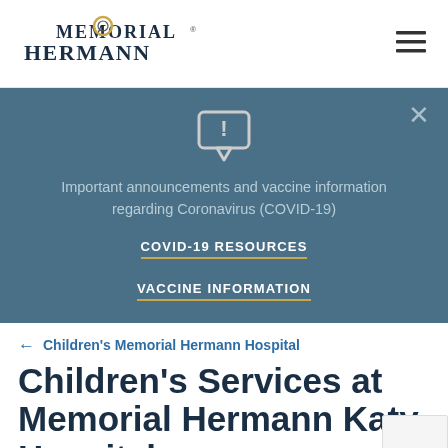[Figure (logo): Memorial Hermann logo with stylized 'O' containing a ring design]
[Figure (other): Hamburger menu icon (three horizontal lines)]
Important announcements and vaccine information regarding Coronavirus (COVID-19)
COVID-19 RESOURCES
VACCINE INFORMATION
← Children's Memorial Hermann Hospital
Children's Services at Memorial Hermann Katy Hospital